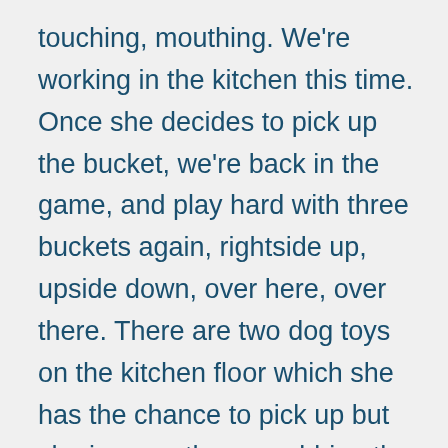touching, mouthing. We're working in the kitchen this time. Once she decides to pick up the bucket, we're back in the game, and play hard with three buckets again, rightside up, upside down, over here, over there. There are two dog toys on the kitchen floor which she has the chance to pick up but she ignores them, grabbing the buckets with gusto.